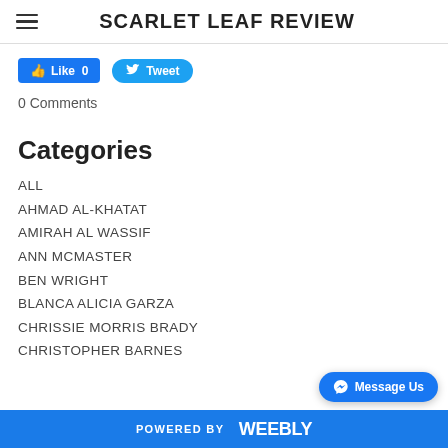SCARLET LEAF REVIEW
[Figure (other): Facebook Like button showing 0 likes and Twitter Tweet button]
0 Comments
Categories
All
AHMAD AL-KHATAT
AMIRAH AL WASSIF
ANN MCMASTER
BEN WRIGHT
BLANCA ALICIA GARZA
CHRISSIE MORRIS BRADY
CHRISTOPHER BARNES
POWERED BY weebly